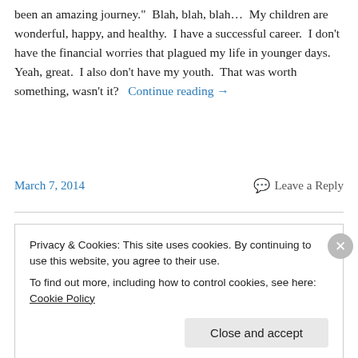been an amazing journey."  Blah, blah, blah…  My children are wonderful, happy, and healthy.  I have a successful career.  I don't have the financial worries that plagued my life in younger days.  Yeah, great.  I also don't have my youth.  That was worth something, wasn't it?   Continue reading →
March 7, 2014    Leave a Reply
Privacy & Cookies: This site uses cookies. By continuing to use this website, you agree to their use.
To find out more, including how to control cookies, see here: Cookie Policy